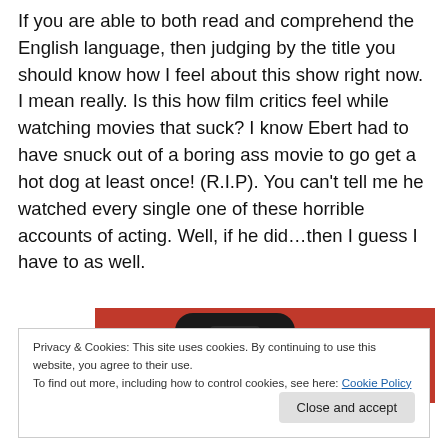If you are able to both read and comprehend the English language, then judging by the title you should know how I feel about this show right now. I mean really. Is this how film critics feel while watching movies that suck? I know Ebert had to have snuck out of a boring ass movie to go get a hot dog at least once! (R.I.P). You can't tell me he watched every single one of these horrible accounts of acting. Well, if he did…then I guess I have to as well.
[Figure (photo): A red remote control device (appears to be an Apple TV remote) on a red background, showing media control buttons.]
Privacy & Cookies: This site uses cookies. By continuing to use this website, you agree to their use.
To find out more, including how to control cookies, see here: Cookie Policy